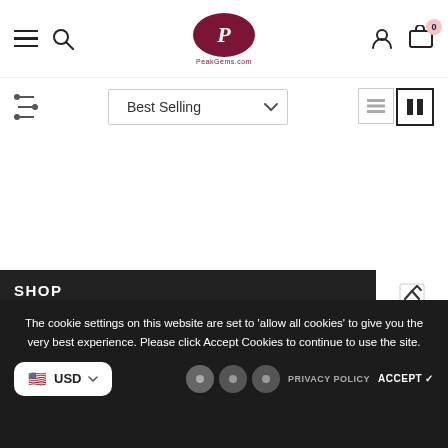PeakGems.com header with hamburger menu, search, logo, user account, and cart (0 items)
Best Selling (sort dropdown)
SHOP
QUICK LINKS
The cookie settings on this website are set to 'allow all cookies' to give you the very best experience. Please click Accept Cookies to continue to use the site.
USD
PRIVACY POLICY
ACCEPT ✓